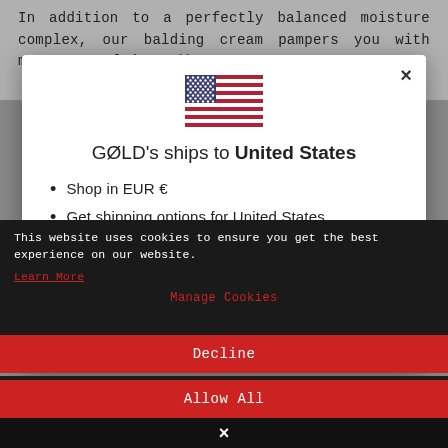In addition to a perfectly balanced moisture complex, our balding cream pampers you with many natural ingredients to store
[Figure (screenshot): Modal dialog with US flag, title 'GØLD's ships to United States', bullet list: 'Shop in EUR €', 'Get shipping options for United States', and a close X button]
Shop in EUR €
Get shipping options for United States
This website uses cookies to ensure you get the best experience on our website. Learn More
Manage Cookies
Decline
Allow All
×